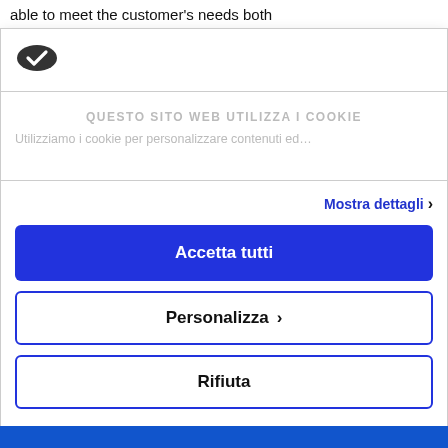able to meet the customer's needs both
[Figure (logo): Cookiebot logo — dark oval with white checkmark]
QUESTO SITO WEB UTILIZZA I COOKIE
Utilizziamo i cookie per personalizzare contenuti ed…
Mostra dettagli >
Accetta tutti
Personalizza >
Rifiuta
Powered by Cookiebot by Usercentrics